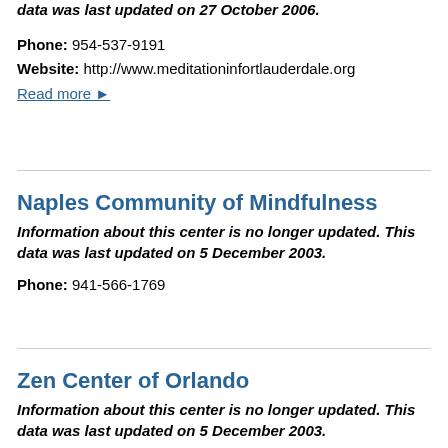data was last updated on 27 October 2006.
Phone: 954-537-9191
Website: http://www.meditationinfortlauderdale.org
Read more ▶
Naples Community of Mindfulness
Information about this center is no longer updated. This data was last updated on 5 December 2003.
Phone: 941-566-1769
Zen Center of Orlando
Information about this center is no longer updated. This data was last updated on 5 December 2003.